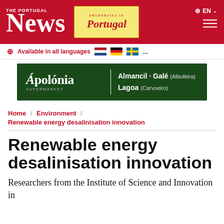The Portugal News
[Figure (logo): Properties in Portugal advertisement banner]
Available in all languages 🇳🇱 🇩🇪 🇸🇪 ...
[Figure (illustration): Ápolónia Supermarket advertisement banner - Almancil, Galé (Albufeira), Lagoa (Carvoeiro)]
Home / Environment / Renewable energy desalinisation innovation
Renewable energy desalinisation innovation
Researchers from the Institute of Science and Innovation in technology Researchers from the Institute of Science and Innovation in